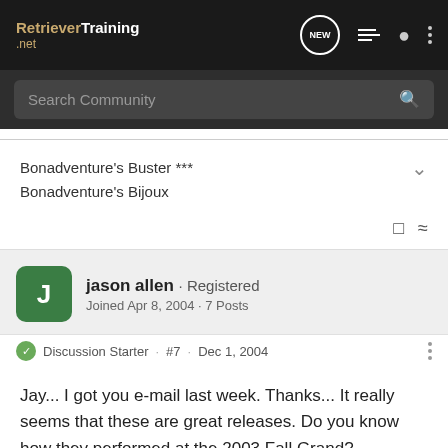RetrieverTraining.net
Search Community
Bonadventure's Buster ***
Bonadventure's Bijoux
jason allen · Registered
Joined Apr 8, 2004 · 7 Posts
Discussion Starter · #7 · Dec 1, 2004
Jay... I got you e-mail last week. Thanks... It really seems that these are great releases. Do you know how they performed at the 2003 Fall Grand?